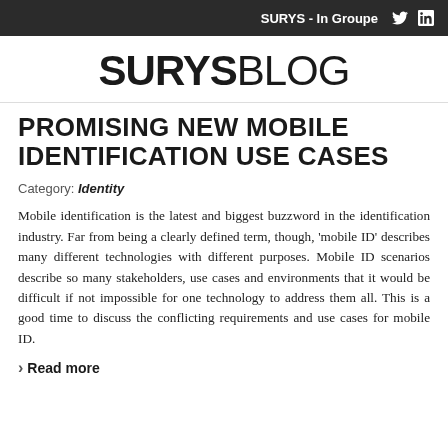SURYS - In Groupe
SURYSBLOG
PROMISING NEW MOBILE IDENTIFICATION USE CASES
Category: Identity
Mobile identification is the latest and biggest buzzword in the identification industry. Far from being a clearly defined term, though, 'mobile ID' describes many different technologies with different purposes. Mobile ID scenarios describe so many stakeholders, use cases and environments that it would be difficult if not impossible for one technology to address them all. This is a good time to discuss the conflicting requirements and use cases for mobile ID.
Read more